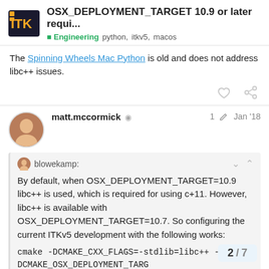OSX_DEPLOYMENT_TARGET 10.9 or later requi... Engineering python, itkv5, macos
The Spinning Wheels Mac Python is old and does not address libc++ issues.
matt.mccormick 1 Jan '18
blowekamp: By default, when OSX_DEPLOYMENT_TARGET=10.9 libc++ is used, which is required for using c+11. However, libc++ is available with OSX_DEPLOYMENT_TARGET=10.7. So configuring the current ITKv5 development with the following works: cmake -DCMAKE_CXX_FLAGS=-stdlib=libc++ -DCMAKE_OSX_DEPLOYMENT_TARG
2 / 7